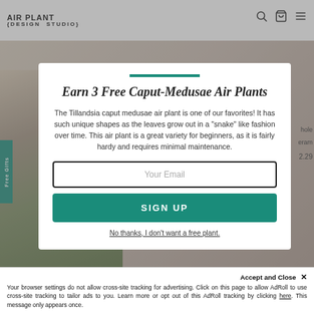AIR PLANT {DESIGN STUDIO}
[Figure (photo): Hand holding a Tillandsia caput medusae air plant with snake-like leaves, visible on left side of modal]
Earn 3 Free Caput-Medusae Air Plants
The Tillandsia caput medusae air plant is one of our favorites!  It has such unique shapes as the leaves grow out in a "snake" like fashion over time.  This air plant is a great variety for beginners, as it is fairly hardy and requires minimal maintenance.
Your Email
SIGN UP
No thanks, I don't want a free plant.
Accept and Close ✕
Your browser settings do not allow cross-site tracking for advertising. Click on this page to allow AdRoll to use cross-site tracking to tailor ads to you. Learn more or opt out of this AdRoll tracking by clicking here. This message only appears once.